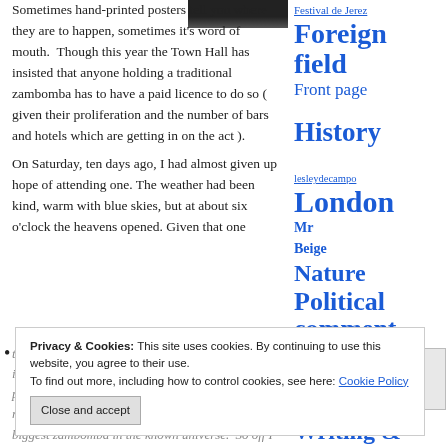Sometimes hand-printed posters tell you where they are to happen, sometimes it's word of mouth. Though this year the Town Hall has insisted that anyone holding a traditional zambomba has to have a paid licence to do so ( given their proliferation and the number of bars and hotels which are getting in on the act ).
On Saturday, ten days ago, I had almost given up hope of attending one. The weather had been kind, warm with blue skies, but at about six o'clock the heavens opened. Given that one traditional aspect of a zambomba is a fire usually in an oil drum, and that the rain was beginning to persist, I resigned myself to missing out. Then I received a text saying 'Get to Plateros for the biggest zambomba in the known universe.' So off I went.
Festival de Jerez
Foreign field
Front page
History
lesleydecampo
London
Mr Beige
Nature
Political comment
suepsails
Words
Worth a visit
Writing & publishing
Privacy & Cookies: This site uses cookies. By continuing to use this website, you agree to their use. To find out more, including how to control cookies, see here: Cookie Policy
Close and accept
FOLLOW J.J.ANDERSON ON FACEBOOK